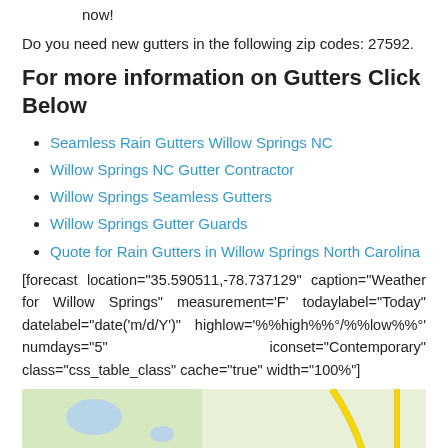now!
Do you need new gutters in the following zip codes: 27592.
For more information on Gutters Click Below
Seamless Rain Gutters Willow Springs NC
Willow Springs NC Gutter Contractor
Willow Springs Seamless Gutters
Willow Springs Gutter Guards
Quote for Rain Gutters in Willow Springs North Carolina
[forecast location="35.590511,-78.737129" caption="Weather for Willow Springs" measurement='F' todaylabel="Today" datelabel="date('m/d/Y')" highlow='%%high%%°/%%low%%°' numdays="5" iconset="Contemporary" class="css_table_class" cache="true" width="100%"]
[Figure (map): Google map showing Willow Springs, NC area with a red location pin marker, roads, route 55, route 40, route 42, and Fuquay-Varina label visible.]